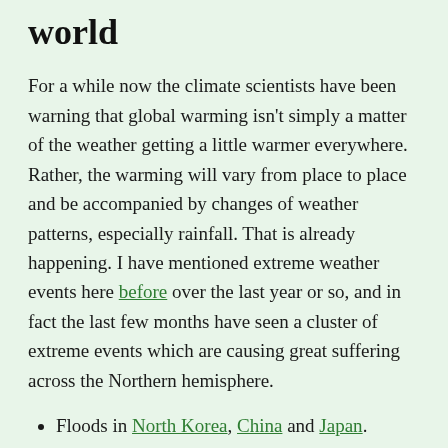world
For a while now the climate scientists have been warning that global warming isn't simply a matter of the weather getting a little warmer everywhere. Rather, the warming will vary from place to place and be accompanied by changes of weather patterns, especially rainfall. That is already happening. I have mentioned extreme weather events here before over the last year or so, and in fact the last few months have seen a cluster of extreme events which are causing great suffering across the Northern hemisphere.
Floods in North Korea, China and Japan.
Floods in Papua New Guinea.
Floods in the UK over summer, even leading to concerns about whether the Olympics could proceed successfully.
Drought in the USA. One of its smallest impacts, but